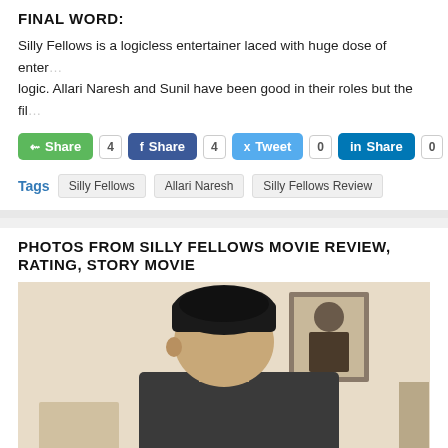FINAL WORD:
Silly Fellows is a logicless entertainer laced with huge dose of entertainment sans logic. Allari Naresh and Sunil have been good in their roles but the film...
Share 4 | Share 4 | Tweet 0 | Share 0 | Em...
Tags: Silly Fellows | Allari Naresh | Silly Fellows Review
PHOTOS FROM SILLY FELLOWS MOVIE REVIEW, RATING, STORY MOVIE
[Figure (photo): Photo of actor with dark hair, with a framed portrait visible in the background on a cream-colored wall]